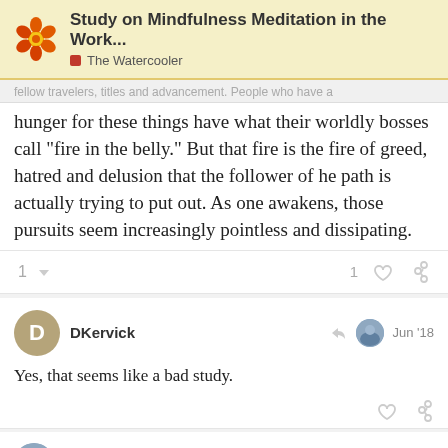Study on Mindfulness Meditation in the Work... | The Watercooler
fellow travelers, titles and advancement. People who have a hunger for these things have what their worldly bosses call "fire in the belly." But that fire is the fire of greed, hatred and delusion that the follower of he path is actually trying to put out. As one awakens, those pursuits seem increasingly pointless and dissipating.
DKervick  Jun '18
Yes, that seems like a bad study.
Erik_ODonnell
10 / 13